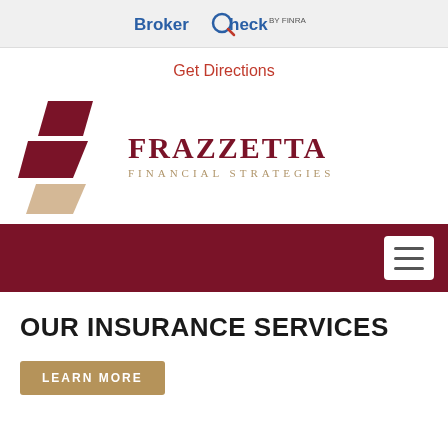BrokerCheck by FINRA
Get Directions
[Figure (logo): Frazzetta Financial Strategies logo with geometric dark red and tan/beige shapes on the left and company name text on the right]
[Figure (other): Dark maroon navigation bar with white hamburger menu button icon in upper right]
OUR INSURANCE SERVICES
LEARN MORE